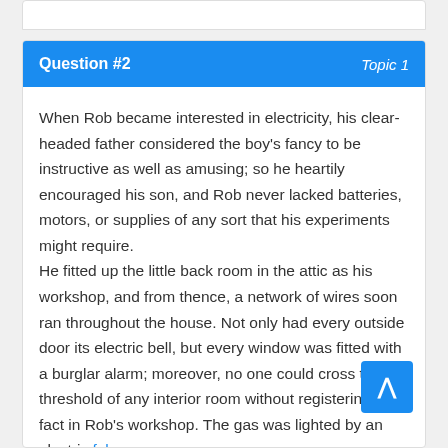Question #2    Topic 1
When Rob became interested in electricity, his clear-headed father considered the boy's fancy to be instructive as well as amusing; so he heartily encouraged his son, and Rob never lacked batteries, motors, or supplies of any sort that his experiments might require.
He fitted up the little back room in the attic as his workshop, and from thence, a network of wires soon ran throughout the house. Not only had every outside door its electric bell, but every window was fitted with a burglar alarm; moreover, no one could cross the threshold of any interior room without registering the fact in Rob's workshop. The gas was lighted by an electric fob; a chime, connected with an erratic clock in the boy's room,